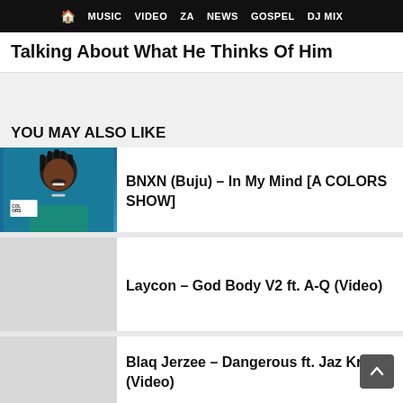🏠 MUSIC VIDEO ZA NEWS GOSPEL DJ MIX
Talking About What He Thinks Of Him
YOU MAY ALSO LIKE
[Figure (photo): Photo of BNXN (Buju) wearing a teal jacket in front of a blue background, with a COLORS show card visible]
BNXN (Buju) – In My Mind [A COLORS SHOW]
[Figure (photo): Placeholder thumbnail for Laycon – God Body V2 ft. A-Q (Video)]
Laycon – God Body V2 ft. A-Q (Video)
[Figure (photo): Placeholder thumbnail for Blaq Jerzee – Dangerous ft. Jaz Kric (Video)]
Blaq Jerzee – Dangerous ft. Jaz Kric (Video)